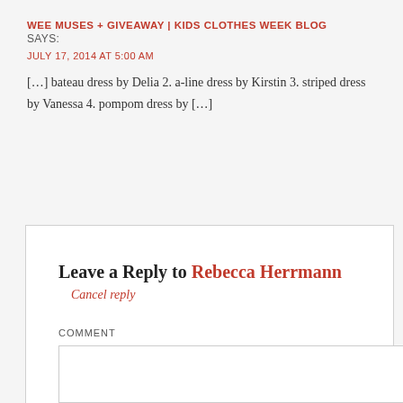WEE MUSES + GIVEAWAY | KIDS CLOTHES WEEK BLOG
SAYS:
JULY 17, 2014 AT 5:00 AM
[…] bateau dress by Delia 2. a-line dress by Kirstin 3. striped dress by Vanessa 4. pompom dress by […]
Leave a Reply to Rebecca Herrmann
Cancel reply
COMMENT